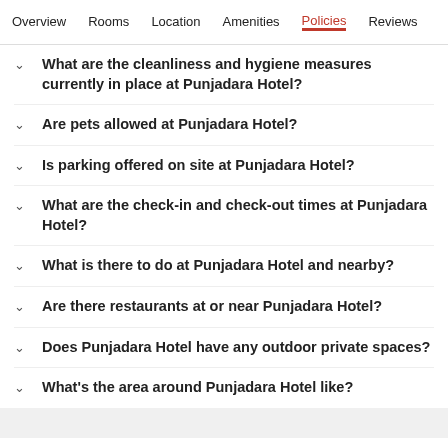Overview  Rooms  Location  Amenities  Policies  Reviews
What are the cleanliness and hygiene measures currently in place at Punjadara Hotel?
Are pets allowed at Punjadara Hotel?
Is parking offered on site at Punjadara Hotel?
What are the check-in and check-out times at Punjadara Hotel?
What is there to do at Punjadara Hotel and nearby?
Are there restaurants at or near Punjadara Hotel?
Does Punjadara Hotel have any outdoor private spaces?
What's the area around Punjadara Hotel like?
Good